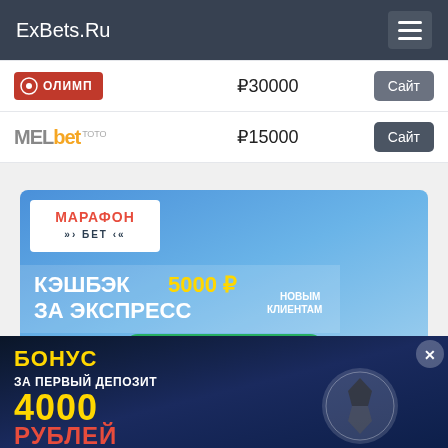ExBets.Ru
| Букмекер | Бонус | Действие |
| --- | --- | --- |
| ОЛИМП | ₽30000 | Сайт |
| MElbet TOTO | ₽15000 | Сайт |
[Figure (infographic): Марафон Бет advertisement banner: КЭШБЭК 5000 ₽ ЗА ЭКСПРЕСС НОВЫМ КЛИЕНТАМ, green button Получить кэшбэк]
[Figure (infographic): Fonbet logo partially visible]
[Figure (infographic): Bottom banner: БОНУС ЗА ПЕРВЫЙ ДЕПОЗИТ 4000 РУБЛЕЙ with football]